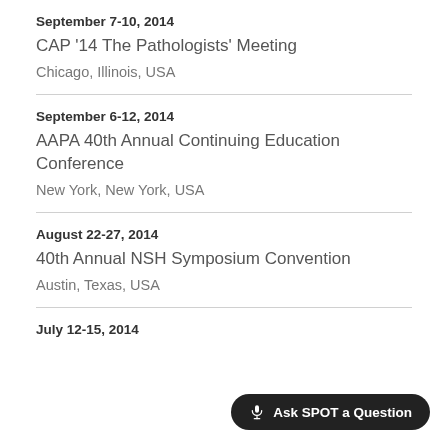September 7-10, 2014
CAP ’14 The Pathologists’ Meeting
Chicago, Illinois, USA
September 6-12, 2014
AAPA 40th Annual Continuing Education Conference
New York, New York, USA
August 22-27, 2014
40th Annual NSH Symposium Convention
Austin, Texas, USA
July 12-15, 2014